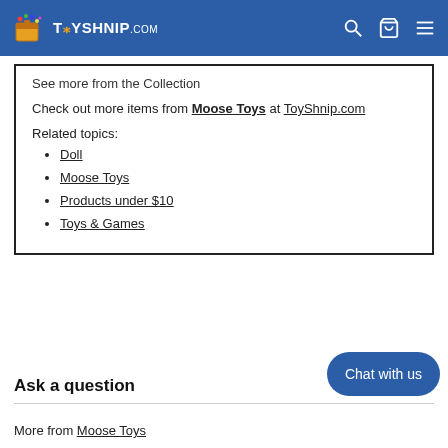TOYSHNIP.COM
See more from the Collection
Check out more items from Moose Toys at ToyShnip.com
Related topics:
Doll
Moose Toys
Products under $10
Toys & Games
Ask a question
More from Moose Toys